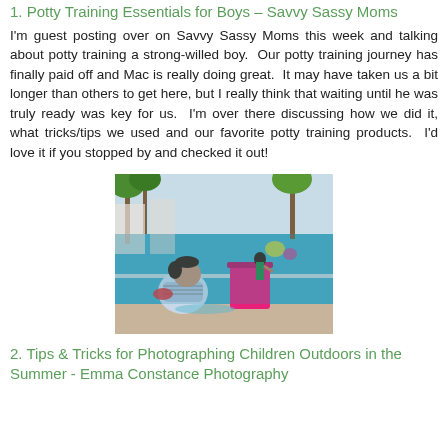1. Potty Training Essentials for Boys - Savvy Sassy Moms
I'm guest posting over on Savvy Sassy Moms this week and talking about potty training a strong-willed boy.  Our potty training journey has finally paid off and Mac is really doing great.  It may have taken us a bit longer than others to get here, but I really think that waiting until he was truly ready was key for us.  I'm over there discussing how we did it, what tricks/tips we used and our favorite potty training products.  I'd love it if you stopped by and checked it out!
[Figure (photo): A young girl at a swimming pool playing near the edge, with a bright pink bucket containing a Barbie doll. Palm trees and pool in the background.]
2. Tips & Tricks for Photographing Children Outdoors in the Summer - Emma Constance Photography